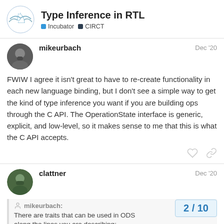Type Inference in RTL — Incubator CIRCT
mikeurbach Dec '20
FWIW I agree it isn't great to have to re-create functionality in each new language binding, but I don't see a simple way to get the kind of type inference you want if you are building ops through the C API. The OperationState interface is generic, explicit, and low-level, so it makes sense to me that this is what the C API accepts.
clattner Dec '20
mikeurbach:
There are traits that can be used in ODS along the lines you are describing:
2 / 10